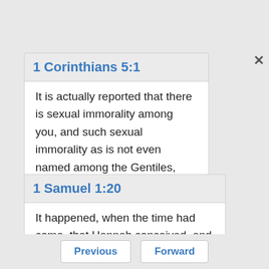1 Corinthians 5:1
It is actually reported that there is sexual immorality among you, and such sexual immorality as is not even named among the Gentiles, that one has his father's wife.
1 Samuel 1:20
It happened, when the time had come, that Hannah conceived, and bore a son; and she named him Samuel, [saying], "Because I have
Previous   Forward